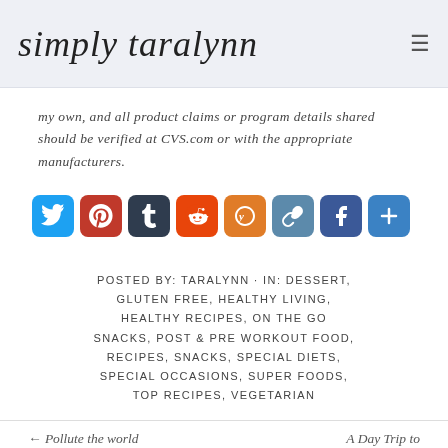simply taralynn
my own, and all product claims or program details shared should be verified at CVS.com or with the appropriate manufacturers.
[Figure (other): Row of social sharing icon buttons: Twitter, Pinterest, Tumblr, Reddit, Yummly, Link, Facebook, More]
POSTED BY: TARALYNN · IN: DESSERT, GLUTEN FREE, HEALTHY LIVING, HEALTHY RECIPES, ON THE GO SNACKS, POST & PRE WORKOUT FOOD, RECIPES, SNACKS, SPECIAL DIETS, SPECIAL OCCASIONS, SUPER FOODS, TOP RECIPES, VEGETARIAN
← Pollute the world          A Day Trip to